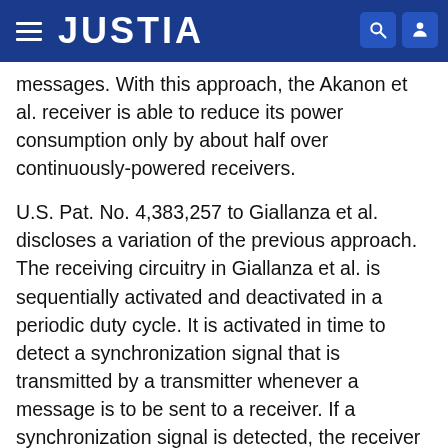JUSTIA
messages. With this approach, the Akanon et al. receiver is able to reduce its power consumption only by about half over continuously-powered receivers.
U.S. Pat. No. 4,383,257 to Giallanza et al. discloses a variation of the previous approach. The receiving circuitry in Giallanza et al. is sequentially activated and deactivated in a periodic duty cycle. It is activated in time to detect a synchronization signal that is transmitted by a transmitter whenever a message is to be sent to a receiver. If a synchronization signal is detected, the receiver remains activated beyond its duty cycle to determine if succeeding address signals identify such receiver to continue receiving messages. This approach also requires the receiving circuitry to be on at least a fixed amount of the time regardless of whether messages are being sent to it. In most cases, this on-time is much longer than is necessary to actually receive